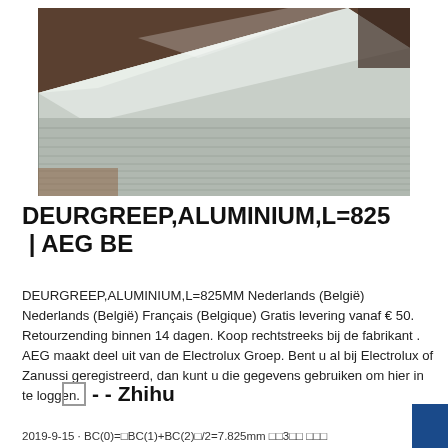[Figure (photo): Stack of aluminum sheets photographed from an angle, showing shiny metallic surface, stored in a warehouse or industrial setting.]
DEURGREEP,ALUMINIUM,L=825 | AEG BE
DEURGREEP,ALUMINIUM,L=825MM Nederlands (België) Nederlands (België) Français (Belgique) Gratis levering vanaf € 50. Retourzending binnen 14 dagen. Koop rechtstreeks bij de fabrikant . AEG maakt deel uit van de Electrolux Groep. Bent u al bij Electrolux of Zanussi geregistreerd, dan kunt u die gegevens gebruiken om hier in te loggen.
□ - - Zhihu
2019-9-15 · BC(0)=□BC(1)+BC(2)□/2=7.825mm □□3□□ □□□